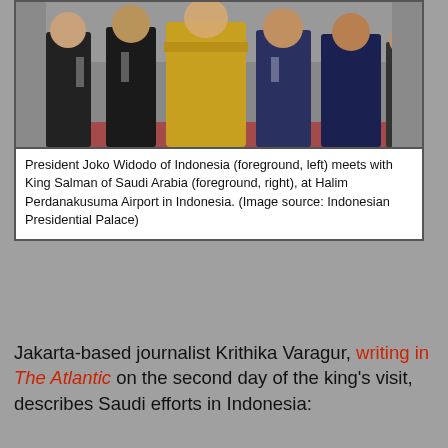[Figure (photo): Group photo of President Joko Widodo of Indonesia and King Salman of Saudi Arabia with other officials at Halim Perdanakusuma Airport in Indonesia.]
President Joko Widodo of Indonesia (foreground, left) meets with King Salman of Saudi Arabia (foreground, right), at Halim Perdanakusuma Airport in Indonesia. (Image source: Indonesian Presidential Palace)
Jakarta-based journalist Krithika Varagur, writing in The Atlantic on the second day of the king's visit, describes Saudi efforts in Indonesia:
"Since 1980, Saudi Arabia has devoted millions of dollars to exporting its strict brand of Islam, Salafism, to historically tolerant and diverse Indonesia. It has built more than 150 mosques (albeit in a country that has about 800,000), a huge free university in Jakarta, and several Arabic language institutes; supplied more than 100 boarding schools with books and teachers (albeit in a country estimated to have between 13,000 and 30,000 boarding schools); brought in